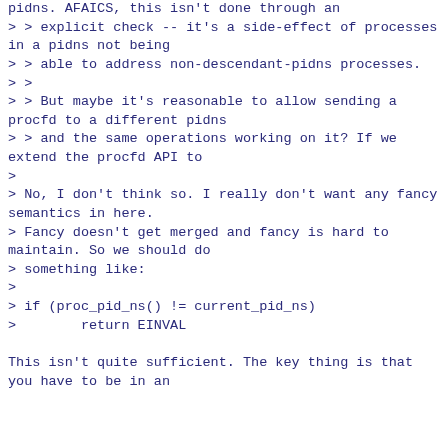pidns. AFAICS, this isn't done through an
> > explicit check -- it's a side-effect of processes in a pidns not being
> > able to address non-descendant-pidns processes.
> >
> > But maybe it's reasonable to allow sending a procfd to a different pidns
> > and the same operations working on it? If we extend the procfd API to
>
> No, I don't think so. I really don't want any fancy semantics in here.
> Fancy doesn't get merged and fancy is hard to maintain. So we should do
> something like:
>
> if (proc_pid_ns() != current_pid_ns)
>        return EINVAL

This isn't quite sufficient. The key thing is that you have to be in an